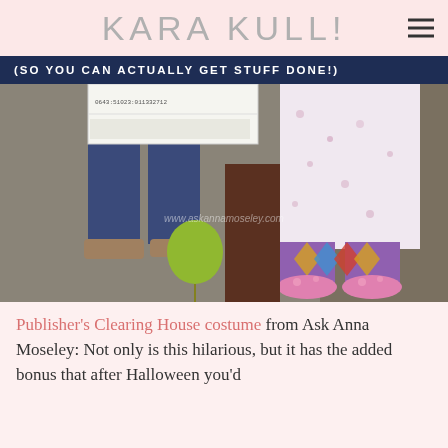KARA KULL!
(SO YOU CAN ACTUALLY GET STUFF DONE!)
[Figure (photo): Two people shown from the waist down. One wears jeans and brown shoes, holding a large check/certificate. The other wears a floral dress with colorful argyle socks and pink floral slippers. A green balloon is visible in the background. Watermark reads www.askannamoseley.com]
Publisher's Clearing House costume from Ask Anna Moseley: Not only is this hilarious, but it has the added bonus that after Halloween you'd